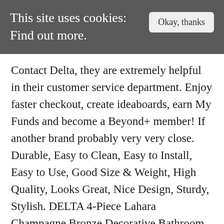This site uses cookies: Find out more.
Contact Delta, they are extremely helpful in their customer service department. Enjoy faster checkout, create ideaboards, earn My Funds and become a Beyond+ member! If another brand probably very very close. Durable, Easy to Clean, Easy to Install, Easy to Use, Good Size & Weight, High Quality, Looks Great, Nice Design, Sturdy, Stylish. DELTA 4-Piece Lahara Champagne Bronze Decorative Bathroom Hardware Set Item # 1182254 Model # KA-LAH-4-CZ Kit includes 24-in towel bar, robe hook, towel ring, and toilet paper holder Tile/masonry-